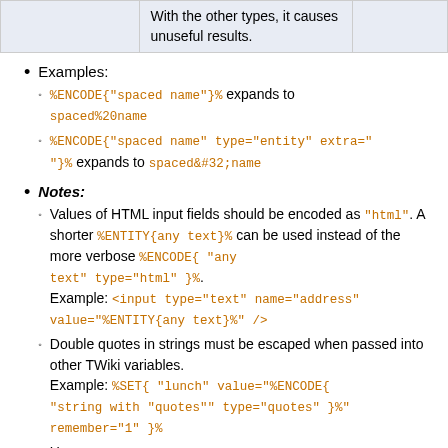|  |  |  |
| --- | --- | --- |
|  | With the other types, it causes unuseful results. |  |
Examples:
%ENCODE{"spaced name"}% expands to spaced%20name
%ENCODE{"spaced name" type="entity" extra=""}% expands to spaced&#32;name
Notes:
Values of HTML input fields should be encoded as "html". A shorter %ENTITY{any text}% can be used instead of the more verbose %ENCODE{ "any text" type="html" }%. Example: <input type="text" name="address" value="%ENTITY{any text}%" />
Double quotes in strings must be escaped when passed into other TWiki variables. Example: %SET{ "lunch" value="%ENCODE{ "string with "quotes"" type="quotes" }%" remember="1" }%
Use type="moderate", type="safe", type="entity" or type="html" to protect user